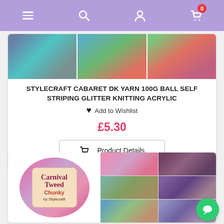Navigation bar with menu, search, account, and cart (0 items) icons
[Figure (photo): Product images of Stylecraft Cabaret DK yarn showing colorful self-striping glitter yarn in blue/teal/green/pink colorways]
STYLECRAFT CABARET DK YARN 100G BALL SELF STRIPING GLITTER KNITTING ACRYLIC
Add to Wishlist
£5.30
Product Details
[Figure (photo): Product images of Carnival Tweed Chunky by Stylecraft yarn showing colorful tweed yarn in pink/multicolor colorways with product label visible]